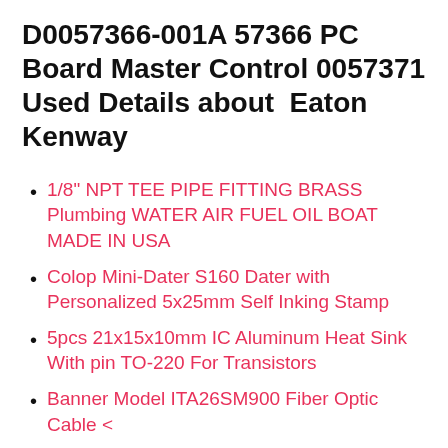D0057366-001A 57366 PC Board Master Control 0057371 Used Details about Eaton Kenway
1/8" NPT TEE PIPE FITTING BRASS Plumbing WATER AIR FUEL OIL BOAT MADE IN USA
Colop Mini-Dater S160 Dater with Personalized 5x25mm Self Inking Stamp
5pcs 21x15x10mm IC Aluminum Heat Sink With pin TO-220 For Transistors
Banner Model ITA26SM900 Fiber Optic Cable <